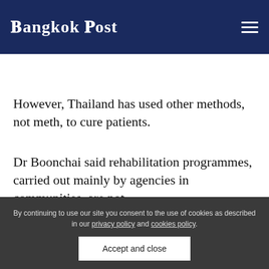Bangkok Post
However, Thailand has used other methods, not meth, to cure patients.
Dr Boonchai said rehabilitation programmes, carried out mainly by agencies in communities, are not
By continuing to use our site you consent to the use of cookies as described in our privacy policy and cookies policy.
Accept and close